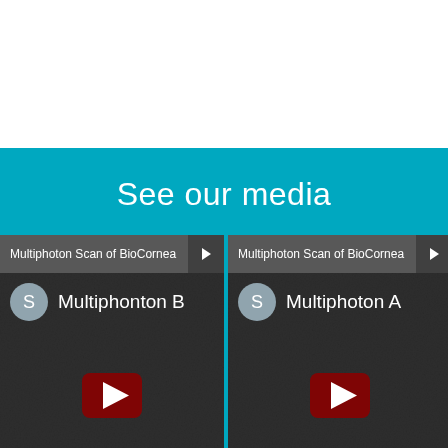See our media
[Figure (screenshot): Video thumbnail card for 'Multiphonton B' - Multiphoton Scan of BioCornea, showing a dark microscopy background with a YouTube-style play button and channel icon 'S']
[Figure (screenshot): Video thumbnail card for 'Multiphoton A' - Multiphoton Scan of BioCornea, showing a dark microscopy background with a YouTube-style play button and channel icon 'S']